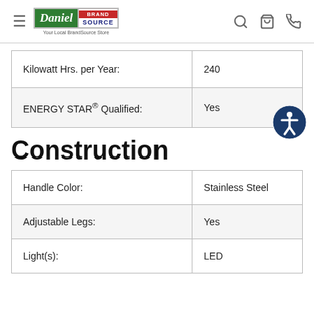Daniel BrandSource - Your Local BrandSource Store
| Kilowatt Hrs. per Year: | 240 |
| ENERGY STAR® Qualified: | Yes |
Construction
| Handle Color: | Stainless Steel |
| Adjustable Legs: | Yes |
| Light(s): | LED |